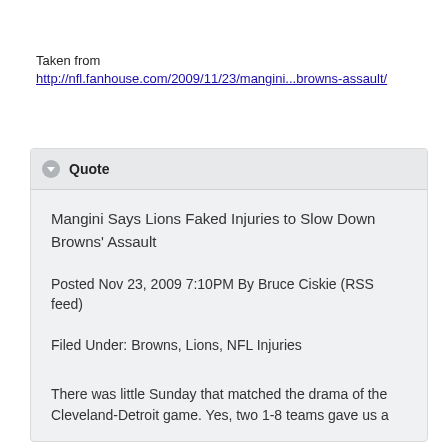Taken from
http://nfl.fanhouse.com/2009/11/23/mangini...browns-assault/
Quote
Mangini Says Lions Faked Injuries to Slow Down Browns' Assault
Posted Nov 23, 2009 7:10PM By Bruce Ciskie (RSS feed)
Filed Under: Browns, Lions, NFL Injuries
There was little Sunday that matched the drama of the Cleveland-Detroit game. Yes, two 1-8 teams gave us a